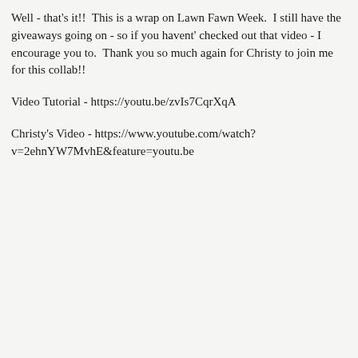Well - that's it!!  This is a wrap on Lawn Fawn Week.  I still have the giveaways going on - so if you havent' checked out that video - I encourage you to.  Thank you so much again for Christy to join me for this collab!!
Video Tutorial - https://youtu.be/zvIs7CqrXqA
Christy's Video - https://www.youtube.com/watch?v=2ehnYW7MvhE&feature=youtu.be